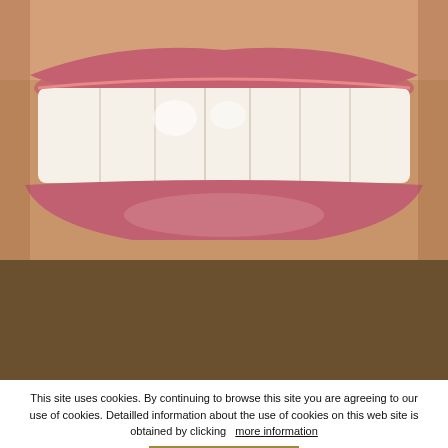[Figure (photo): Close-up photograph of a person's smile showing white teeth and pink lips against skin-toned background. Lower half of face visible.]
This site uses cookies. By continuing to browse this site you are agreeing to our use of cookies. Detailled information about the use of cookies on this web site is obtained by clicking more information Agree